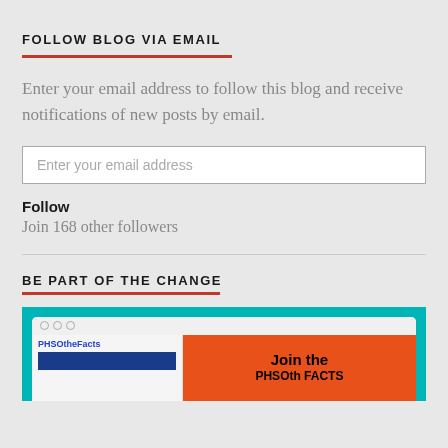FOLLOW BLOG VIA EMAIL
Enter your email address to follow this blog and receive notifications of new posts by email.
Enter your email address
Follow
Join 168 other followers
BE PART OF THE CHANGE
[Figure (illustration): Browser window mockup on teal background showing PHSOtheFacts branding on left and 'Join the PHSO...' text on orange background on right]